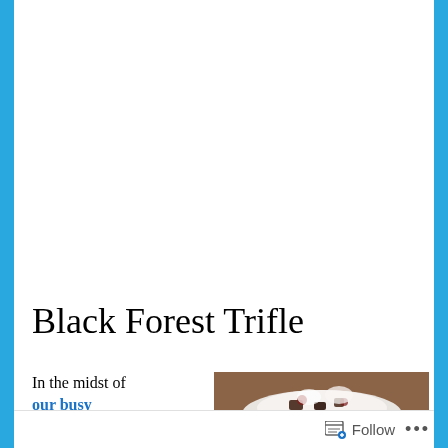Blue Jeans and Cotton Tees
[Figure (photo): Wide panoramic banner photo of a green field/meadow with trees on the right side and a blue sky with clouds]
Black Forest Trifle
In the midst of our busy week with
[Figure (photo): Photo of a Black Forest Trifle dessert in a white dish on a brown background]
Follow ...